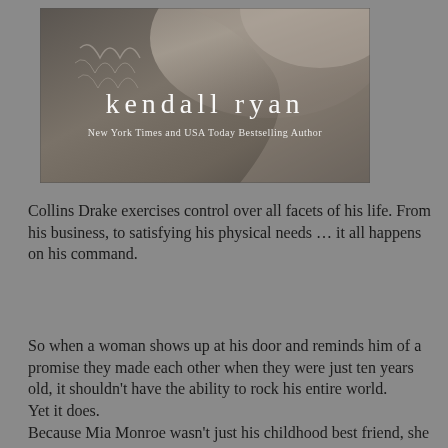[Figure (illustration): Book cover image showing a close-up of a person's bare back/shoulder, with text 'kendall ryan' in white serif font and 'New York Times and USA Today Bestselling Author' below]
Collins Drake exercises control over all facets of his life. From his business, to satisfying his physical needs … it all happens on his command.
So when a woman shows up at his door and reminds him of a promise they made each other when they were just ten years old, it shouldn't have the ability to rock his entire world.
Yet it does.
Because Mia Monroe wasn't just his childhood best friend, she wasn't just the girl he lost his virginity to and hasn't seen since